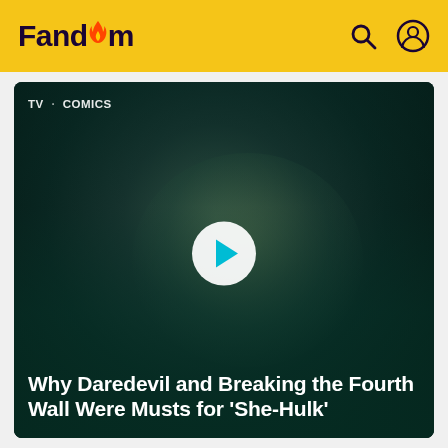Fandom
[Figure (screenshot): Video thumbnail showing a woman's face with dark teal color grading, with a circular white play button in the center. Category labels 'TV · COMICS' appear in the top-left. Title text overlays the bottom of the image.]
Why Daredevil and Breaking the Fourth Wall Were Musts for 'She-Hulk'